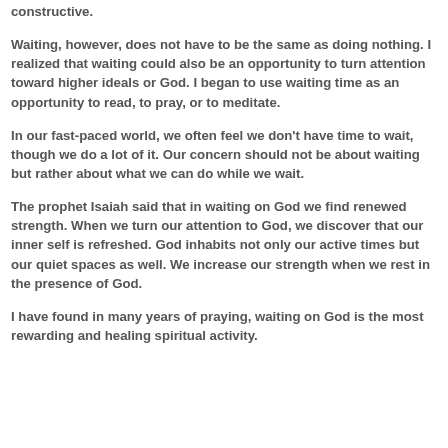constructive.
Waiting, however, does not have to be the same as doing nothing. I realized that waiting could also be an opportunity to turn attention toward higher ideals or God. I began to use waiting time as an opportunity to read, to pray, or to meditate.
In our fast-paced world, we often feel we don't have time to wait, though we do a lot of it. Our concern should not be about waiting but rather about what we can do while we wait.
The prophet Isaiah said that in waiting on God we find renewed strength. When we turn our attention to God, we discover that our inner self is refreshed. God inhabits not only our active times but our quiet spaces as well. We increase our strength when we rest in the presence of God.
I have found in many years of praying, waiting on God is the most rewarding and healing spiritual activity.